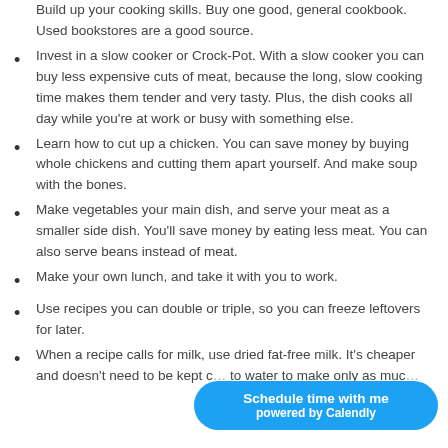Build up your cooking skills. Buy one good, general cookbook. Used bookstores are a good source.
Invest in a slow cooker or Crock-Pot. With a slow cooker you can buy less expensive cuts of meat, because the long, slow cooking time makes them tender and very tasty. Plus, the dish cooks all day while you’re at work or busy with something else.
Learn how to cut up a chicken. You can save money by buying whole chickens and cutting them apart yourself. And make soup with the bones.
Make vegetables your main dish, and serve your meat as a smaller side dish. You’ll save money by eating less meat. You can also serve beans instead of meat.
Make your own lunch, and take it with you to work.
Use recipes you can double or triple, so you can freeze leftovers for later.
When a recipe calls for milk, use dried fat-free milk. It’s cheaper and doesn’t need to be kept c… to water to make only as muc…